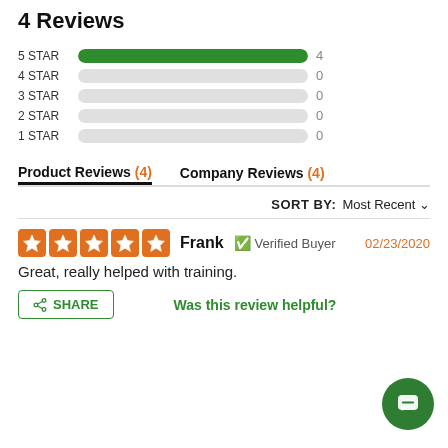4 Reviews
[Figure (bar-chart): Star ratings]
Product Reviews (4)   Company Reviews (4)
SORT BY: Most Recent
Frank   Verified Buyer   02/23/2020
Great, really helped with training.
SHARE   Was this review helpful?